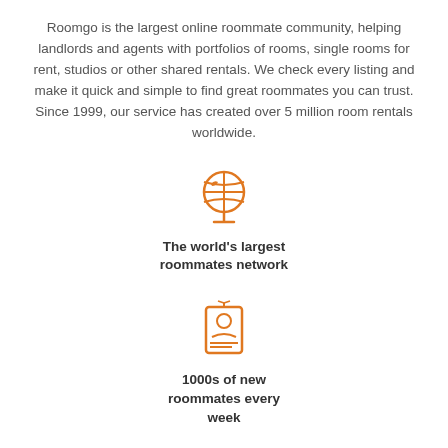Roomgo is the largest online roommate community, helping landlords and agents with portfolios of rooms, single rooms for rent, studios or other shared rentals. We check every listing and make it quick and simple to find great roommates you can trust. Since 1999, our service has created over 5 million room rentals worldwide.
[Figure (illustration): Orange globe icon on a stand]
The world's largest roommates network
[Figure (illustration): Orange ID card / profile card icon]
1000s of new roommates every week
[Figure (illustration): Orange ringing phone / telephone icon]
Get genuine enquiries